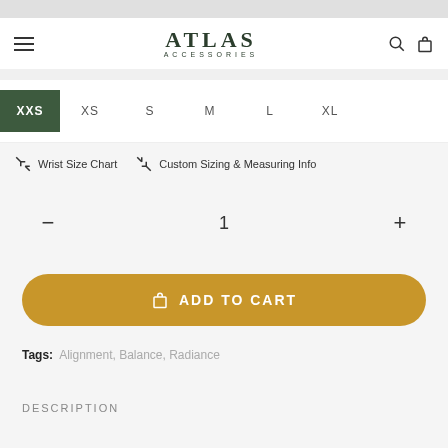ATLAS ACCESSORIES
XXS
XS
S
M
L
XL
Wrist Size Chart   Custom Sizing & Measuring Info
1
ADD TO CART
Tags: Alignment, Balance, Radiance
DESCRIPTION